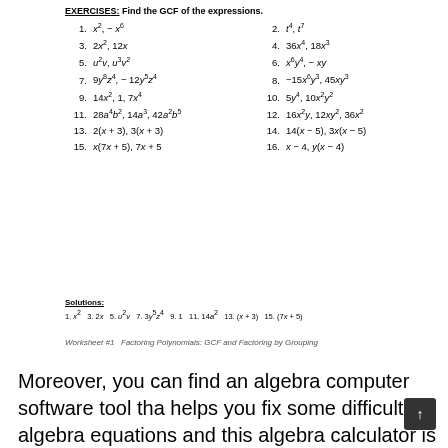EXERCISES: Find the GCF of the expressions.
1. x², −x⁶   2. t⁴, t⁷
3. 2x², 12x   4. 36x⁴, 18x³
5. u²v, u³v²   6. x⁶y⁴, −xy
7. 9y⁸z⁴, −12y⁵z⁴   8. −15x⁶y³, 45xy³
9. 14x², 1, 7x⁴   10. 5y⁴, 10x²y²
11. 28a⁴b², 14a³, 42a²b⁵   12. 16x²y, 12xy², 36x²
13. 2(x+3), 3(x+3)   14. 14(x−5), 3x(x−5)
15. x(7x+5), 7x+5   16. x−4, y(x−4)
Solutions:
1. x²  3. 2x  5. u²v  7. 3y⁵z⁴  9. 1  11. 14a²  13. (x+3)  15. (7x+5)
Worksheet #1  Factoring Polynomials: GCF and Factoring by Grouping
Moreover, you can find an algebra computer software tool that helps you fix some difficult algebra equations and this algebra calculator is the ideal respond to you are interested in. These